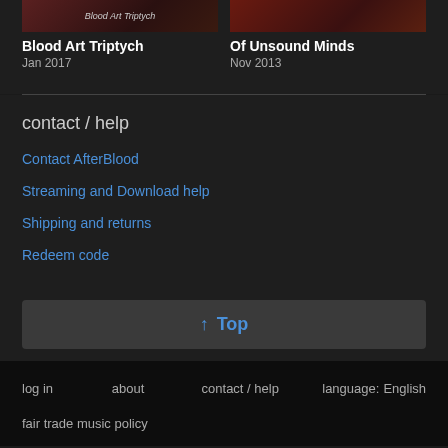Blood Art Triptych
Jan 2017
Of Unsound Minds
Nov 2013
contact / help
Contact AfterBlood
Streaming and Download help
Shipping and returns
Redeem code
↑ Top
log in   about   contact / help   language: English   fair trade music policy